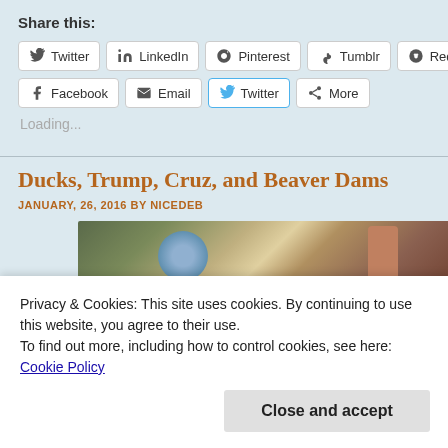Share this:
Twitter  LinkedIn  Pinterest  Tumblr  Reddit  Facebook  Email  Twitter  More
Loading...
Ducks, Trump, Cruz, and Beaver Dams
JANUARY, 26, 2016 BY NICEDEB
[Figure (photo): Partial photo showing people, likely a Duck Dynasty themed image]
Privacy & Cookies: This site uses cookies. By continuing to use this website, you agree to their use.
To find out more, including how to control cookies, see here: Cookie Policy
Close and accept